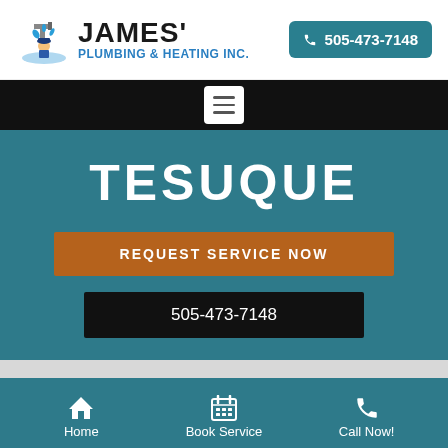[Figure (logo): James' Plumbing & Heating Inc. logo with plumber mascot illustration]
505-473-7148
[Figure (screenshot): Hamburger menu button (three horizontal lines) on black navigation bar]
TESUQUE
REQUEST SERVICE NOW
505-473-7148
Home  Book Service  Call Now!